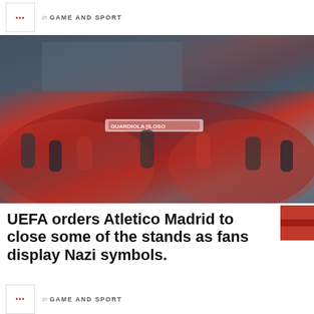in GAME AND SPORT
[Figure (photo): A large crowd of Atletico Madrid fans gathered outside, many wearing red and white scarves, some raising their arms; one fan holds a banner reading 'GUARDIOLA [something]']
UEFA orders Atletico Madrid to close some of the stands as fans display Nazi symbols.
in GAME AND SPORT